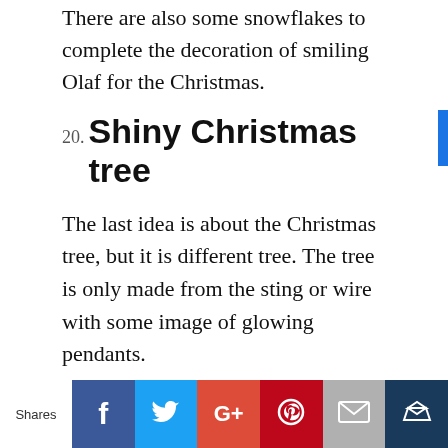There are also some snowflakes to complete the decoration of smiling Olaf for the Christmas.
20. Shiny Christmas tree
The last idea is about the Christmas tree, but it is different tree. The tree is only made from the sting or wire with some image of glowing pendants.
The Christmas is on the black background. There is also picture of Santa with his deer around the tree. It is looks simple but attractive.
Those are some good decoration ideas for the
Shares | Facebook | Twitter | Google+ | Pinterest | Email | Crown